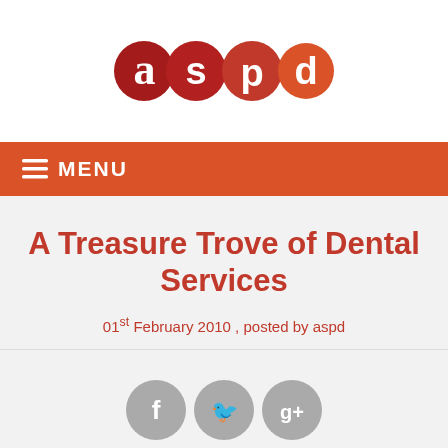[Figure (logo): ASPD logo with four colored circles containing letters a, s, p, d in red and orange tones on white background]
≡ MENU
A Treasure Trove of Dental Services
01st February 2010 , posted by aspd
[Figure (illustration): Three social media icons: Facebook (f), Twitter (bird), Google+ (g+) in gray circles]
Share this page